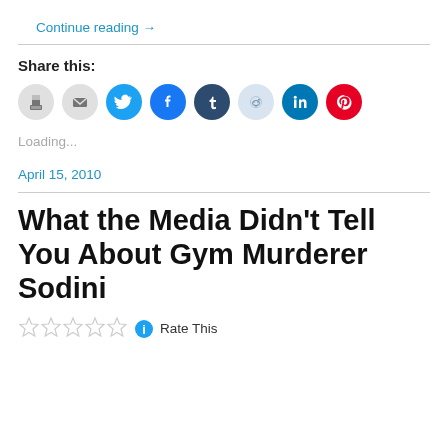Continue reading →
Share this:
[Figure (other): Social sharing icons: print, email, Twitter, Facebook, Tumblr, Reddit, LinkedIn, Pinterest]
Loading...
April 15, 2010
What the Media Didn't Tell You About Gym Murderer Sodini
Rate This